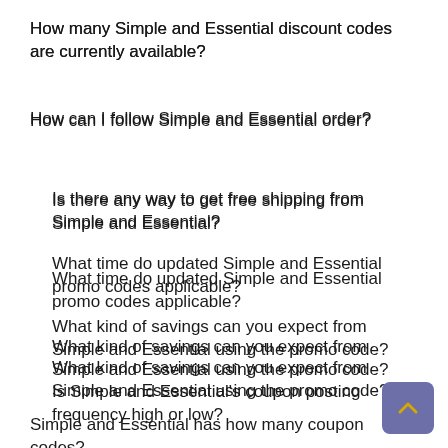How many Simple and Essential discount codes are currently available?
How can I follow Simple and Essential order?
Is there any way to get free shipping from Simple and Essential?
What time do updated Simple and Essential promo codes applicable?
What kind of savings can you expect from Simple and Essential using the promo code?
Is Simple and Essential's coupon posting frequency high or low?
Simple and Essential has how many coupon codes?